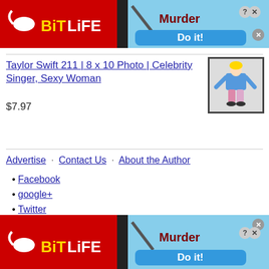[Figure (other): BitLife advertisement banner with red background, BitLife logo with yellow text, and a 'Murder - Do it!' call to action button on blue background]
Taylor Swift 211 | 8 x 10 Photo | Celebrity Singer, Sexy Woman
$7.97
[Figure (photo): Product photo of a person in a colorful outfit posing against a white background]
Advertise · Contact Us · About the Author
Facebook
google+
Twitter
YouTube
[Figure (other): BitLife advertisement banner (bottom) with red background, BitLife logo with yellow text, and a 'Murder - Do it!' call to action button on blue background]